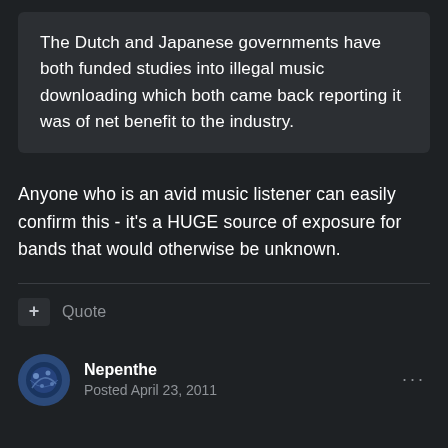The Dutch and Japanese governments have both funded studies into illegal music downloading which both came back reporting it was of net benefit to the industry.
Anyone who is an avid music listener can easily confirm this - it's a HUGE source of exposure for bands that would otherwise be unknown.
+ Quote
Nepenthe
Posted April 23, 2011